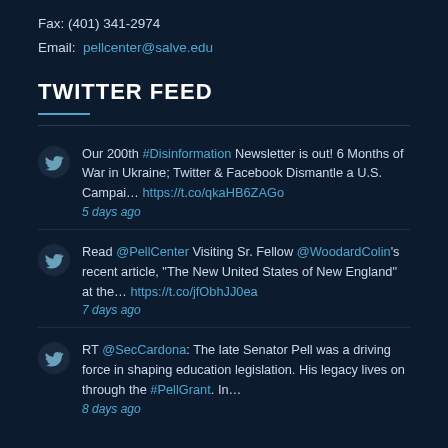Fax: (401) 341-2974
Email: pellcenter@salve.edu
TWITTER FEED
Our 200th #Disinformation Newsletter is out! 6 Months of War in Ukraine; Twitter & Facebook Dismantle a U.S. Campai… https://t.co/qkaHB6ZAGo
5 days ago
Read @PellCenter Visiting Sr. Fellow @WoodardColin's recent article, "The New United States of New England" at the… https://t.co/jfObhJJ0ea
7 days ago
RT @SecCardona: The late Senator Pell was a driving force in shaping education legislation. His legacy lives on through the #PellGrant. In…
8 days ago